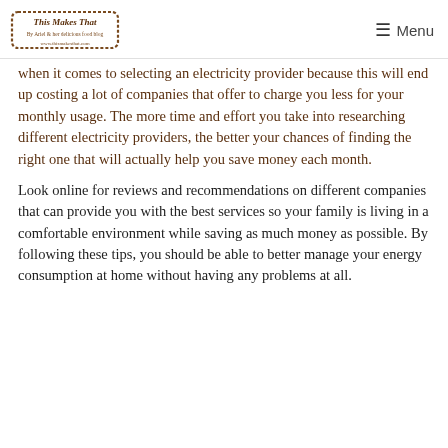This Makes That | Menu
when it comes to selecting an electricity provider because this will end up costing a lot of companies that offer to charge you less for your monthly usage. The more time and effort you take into researching different electricity providers, the better your chances of finding the right one that will actually help you save money each month.
Look online for reviews and recommendations on different companies that can provide you with the best services so your family is living in a comfortable environment while saving as much money as possible. By following these tips, you should be able to better manage your energy consumption at home without having any problems at all.